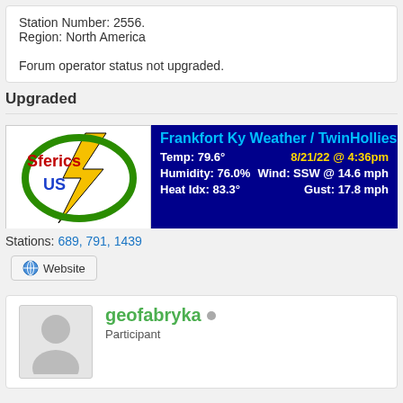Station Number: 2556.
Region: North America

Forum operator status not upgraded.
Upgraded
[Figure (screenshot): Sferies US logo on left and Frankfort Ky Weather / TwinHollies W banner showing Temp: 79.6°, 8/21/22 @ 4:36pm, Humidity: 76.0%, Wind: SSW @ 14.6 mph, Heat Idx: 83.3°, Gust: 17.8 mph on dark blue background]
Stations: 689, 791, 1439
Website
geofabryka
Participant